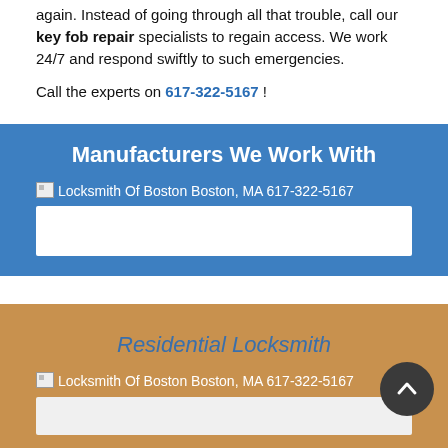again. Instead of going through all that trouble, call our key fob repair specialists to regain access. We work 24/7 and respond swiftly to such emergencies.
Call the experts on 617-322-5167 !
Manufacturers We Work With
[Figure (other): Broken image placeholder with alt text: Locksmith Of Boston Boston, MA 617-322-5167, followed by a white content box]
Residential Locksmith
[Figure (other): Broken image placeholder with alt text: Locksmith Of Boston Boston, MA 617-322-5167, followed by a light content box]